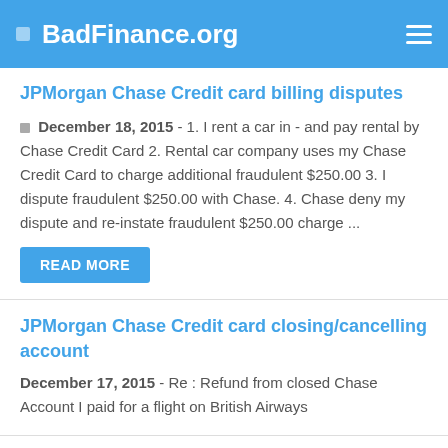BadFinance.org
JPMorgan Chase Credit card billing disputes
December 18, 2015 - 1. I rent a car in - and pay rental by Chase Credit Card 2. Rental car company uses my Chase Credit Card to charge additional fraudulent $250.00 3. I dispute fraudulent $250.00 with Chase. 4. Chase deny my dispute and re-instate fraudulent $250.00 charge ...
JPMorgan Chase Credit card closing/cancelling account
December 17, 2015 - Re : Refund from closed Chase Account I paid for a flight on British Airways